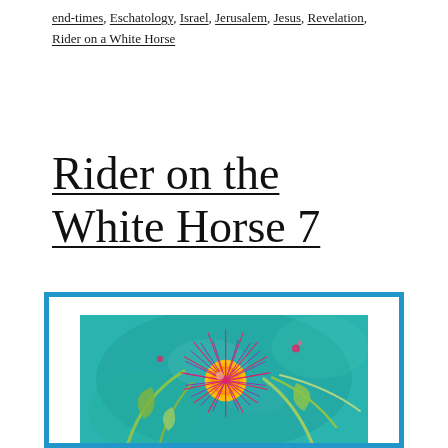end-times, Eschatology, Israel, Jerusalem, Jesus, Revelation, Rider on a White Horse
Rider on the White Horse 7
[Figure (photo): A colorful macro photograph of a spiky spherical flower (resembling a thistle or gaillardia) with vibrant pink, purple, and yellow tones against a teal/turquoise blurred background with green stems and leaves. The image is displayed in a framed style with a white mat and blue border.]